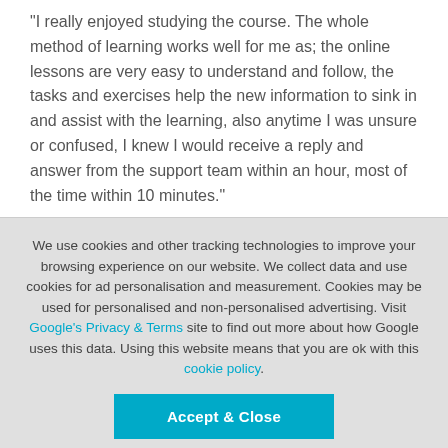"I really enjoyed studying the course. The whole method of learning works well for me as; the online lessons are very easy to understand and follow, the tasks and exercises help the new information to sink in and assist with the learning, also anytime I was unsure or confused, I knew I would receive a reply and answer from the support team within an hour, most of the time within 10 minutes."
We use cookies and other tracking technologies to improve your browsing experience on our website. We collect data and use cookies for ad personalisation and measurement. Cookies may be used for personalised and non-personalised advertising. Visit Google's Privacy & Terms site to find out more about how Google uses this data. Using this website means that you are ok with this cookie policy.